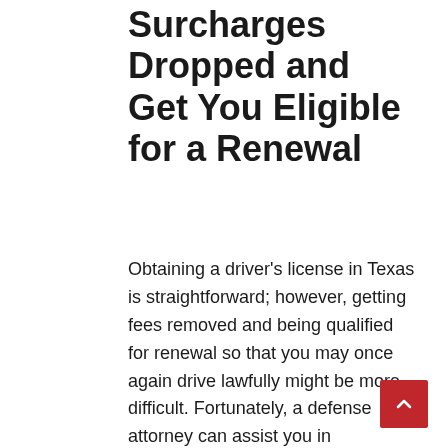Surcharges Dropped and Get You Eligible for a Renewal
Obtaining a driver's license in Texas is straightforward; however, getting fees removed and being qualified for renewal so that you may once again drive lawfully might be more difficult. Fortunately, a defense attorney can assist you in completing the procedure as fast as possible. Alternatively, if you are not qualified for reinstatement of your normal license, you may be able to get an occupational license. In addition, if you did not get notification of a suspended license or were not aware that you were in violation of the law, a lawyer may be able to get your